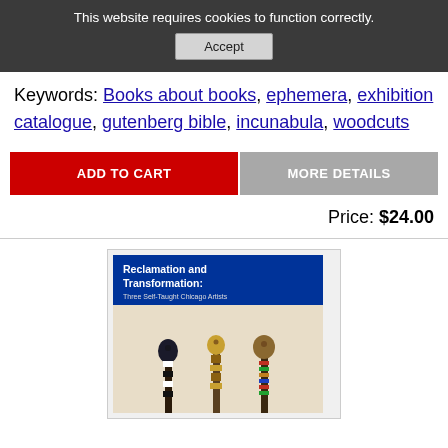This website requires cookies to function correctly.
Accept
Keywords: Books about books, ephemera, exhibition catalogue, gutenberg bible, incunabula, woodcuts
ADD TO CART
MORE DETAILS
Price: $24.00
[Figure (photo): Book cover for 'Reclamation and Transformation: Three Self-Taught Chicago Artists' showing three decorated staffs/sticks with carved figures on top against a light background. Blue header area with white title text.]